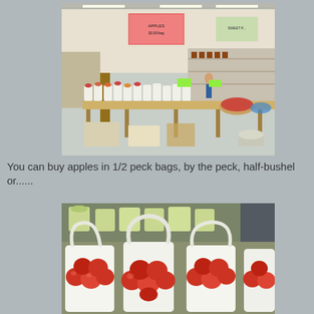[Figure (photo): Interior of an apple farm market or barn stand with wooden tables displaying many bags of apples and produce, signs on wall, shoppers visible in background, fluorescent lighting overhead.]
You can buy apples in 1/2 peck bags, by the peck, half-bushel or......
[Figure (photo): Close-up of white handled bags filled with red apples displayed at a farm market stand, with green-bagged apples visible in the background.]